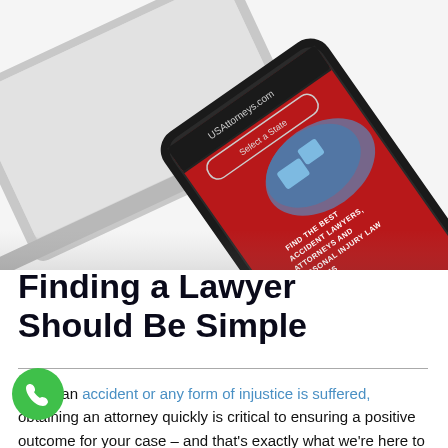[Figure (photo): A laptop and a smartphone showing the USAttorneys.com website with a red background, a US map, and text reading 'Find the best accident lawyers, attorneys and personal injury law firms'. The phone is angled diagonally on a white surface next to the laptop.]
Finding a Lawyer Should Be Simple
When an accident or any form of injustice is suffered, obtaining an attorney quickly is critical to ensuring a positive outcome for your case – and that's exactly what we're here to help you with. USAttorneys.com is your